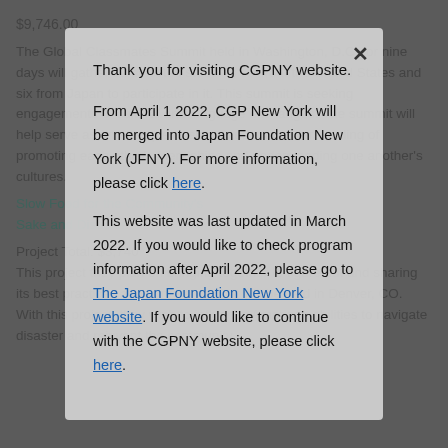$9,746.00
The Global Classmates Summit held in Washington, D.C. for nine days will gather 12 selected students six from the United States and six from Japan to participate in it. This summit is seeking engagements of cultural and language exchanges. The summit will help serve as an example to show students understanding of promoting each other's friendships and understanding one another's cultures.
Slow Food for the Community's Sake and Disaster
Project Total: $3,740
This project... they plan on bringing... together to figure out... and sharing its best practices at a conference that will be held in Denver, CO. With this project, they wish to influence American abilities to navigate disaster and reinvent the community.
Thank you for visiting CGPNY website.

From April 1 2022, CGP New York will be merged into Japan Foundation New York (JFNY). For more information, please click here.

This website was last updated in March 2022. If you would like to check program information after April 2022, please go to The Japan Foundation New York website. If you would like to continue with the CGPNY website, please click here.